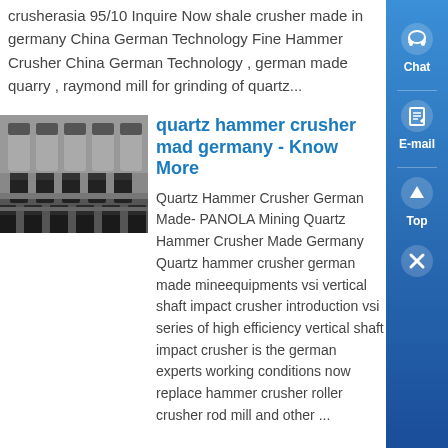crusherasia 95/10 Inquire Now shale crusher made in germany China German Technology Fine Hammer Crusher China German Technology , german made quarry , raymond mill for grinding of quartz...
[Figure (photo): Black and white photo of industrial hammer crusher parts/teeth mounted on a frame, close-up view of crusher machinery]
quartz hammer crusher made germany - Know More
Quartz Hammer Crusher German Made- PANOLA Mining Quartz Hammer Crusher Made Germany Quartz hammer crusher german made mineequipments vsi vertical shaft impact crusher introduction vsi series of high efficiency vertical shaft impact crusher is the german experts working conditions now replace hammer crusher roller crusher rod mill and other ...